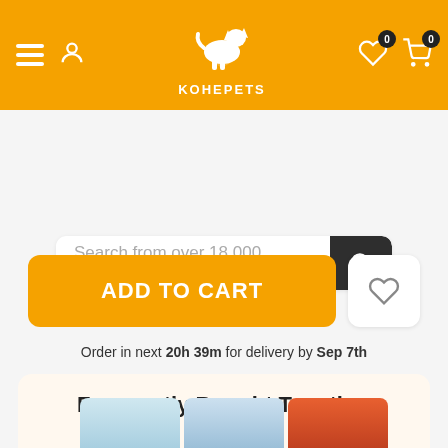[Figure (screenshot): KohePets mobile app header with orange background, hamburger menu, user icon, dog logo, KOHEPETS text, heart icon with badge 0, cart icon with badge 0]
Search from over 18,000 products
- 1 +
ADD TO CART
Order in next 20h 39m for delivery by Sep 7th
Frequently Bought Together
KohePoints
[Figure (photo): Three pet food product bags partially visible at the bottom of the screen]